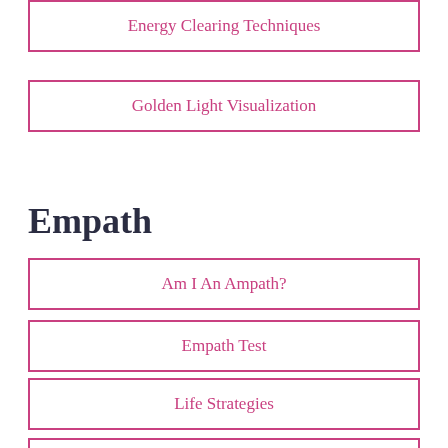Energy Clearing Techniques
Golden Light Visualization
Empath
Am I An Ampath?
Empath Test
Life Strategies
What Is An Empath? Learn If You Are One